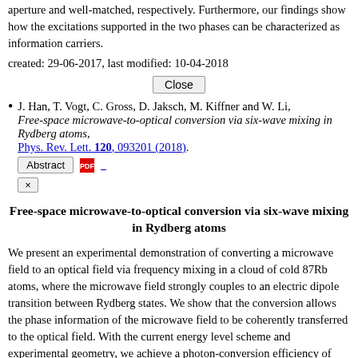aperture and well-matched, respectively. Furthermore, our findings show how the excitations supported in the two phases can be characterized as information carriers.
created: 29-06-2017, last modified: 10-04-2018
J. Han, T. Vogt, C. Gross, D. Jaksch, M. Kiffner and W. Li, Free-space microwave-to-optical conversion via six-wave mixing in Rydberg atoms, Phys. Rev. Lett. 120, 093201 (2018).
Free-space microwave-to-optical conversion via six-wave mixing in Rydberg atoms
We present an experimental demonstration of converting a microwave field to an optical field via frequency mixing in a cloud of cold 87Rb atoms, where the microwave field strongly couples to an electric dipole transition between Rydberg states. We show that the conversion allows the phase information of the microwave field to be coherently transferred to the optical field. With the current energy level scheme and experimental geometry, we achieve a photon-conversion efficiency of ~0.3 percent at low microwave intensities and a broad conversion bandwidth of more than